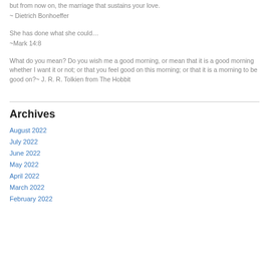but from now on, the marriage that sustains your love.
~ Dietrich Bonhoeffer
She has done what she could…
~Mark 14:8
What do you mean? Do you wish me a good morning, or mean that it is a good morning whether I want it or not; or that you feel good on this morning; or that it is a morning to be good on?~ J. R. R. Tolkien from The Hobbit
Archives
August 2022
July 2022
June 2022
May 2022
April 2022
March 2022
February 2022